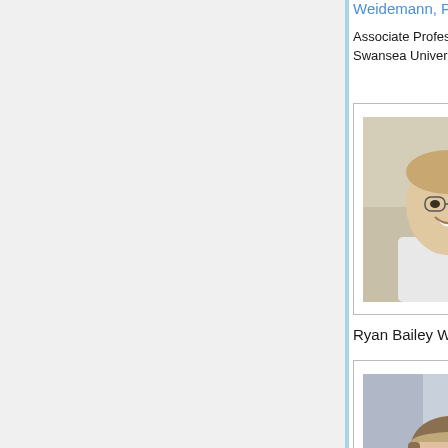Weidemann, Ph.D. [external link]
Associate Professor, Swansea University
[Figure (photo): Portrait photo of Christoph Weidemann, a young man with glasses smiling outdoors]
Ryan Bailey Williams
[Figure (photo): Portrait photo of Ryan Bailey Williams, a middle-aged man with glasses in business attire against a light background]